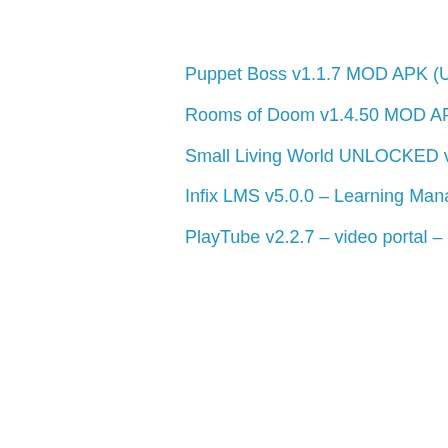Puppet Boss v1.1.7 MOD APK (Unlimited Gold, Tickets)
Rooms of Doom v1.4.50 MOD APK + OBB (Unlimited Gold, Golden Box)
Small Living World UNLOCKED v01.42.00 APK (Full Game)
Infix LMS v5.0.0 – Learning Management System – NullJungle
PlayTube v2.2.7 – video portal – NullJungle